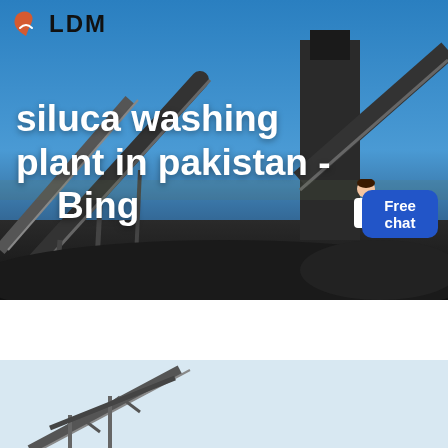[Figure (screenshot): Hero banner with industrial conveyor belt / coal washing plant machinery against a blue sky. LDM logo in top left. Large white bold text reads: siluca washing plant in pakistan - Bing. A customer service representative with a blue Free chat badge is in the bottom right.]
[Figure (photo): Second industrial conveyor belt photo, partial view showing crane/conveyor structure against a light grey sky.]
Get a Quote
WhatsApp